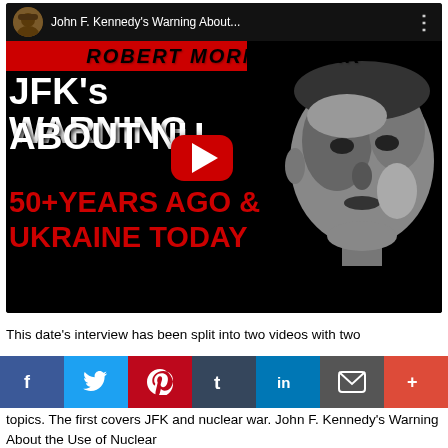[Figure (screenshot): YouTube video thumbnail for 'John F. Kennedy's Warning About...' by Robert Morningstar, featuring bold text: JFK's WARNING ABOUT NUKES 50+ YEARS AGO & UKRAINE TODAY, with a red YouTube play button and a high-contrast face silhouette on the right.]
This date's interview has been split into two videos with two topics. The first covers JFK and nuclear war. John F. Kennedy's Warning About the Use of Nuclear